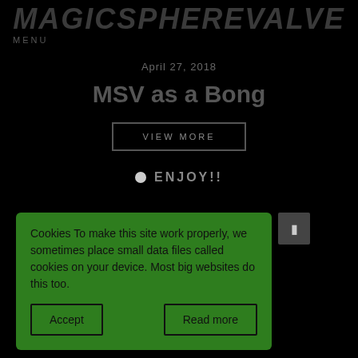MAGICSPHEREVALVE
MENU
April 27, 2018
MSV as a Bong
VIEW MORE
ENJOY!!
Cookies To make this site work properly, we sometimes place small data files called cookies on your device. Most big websites do this too.
Accept
Read more